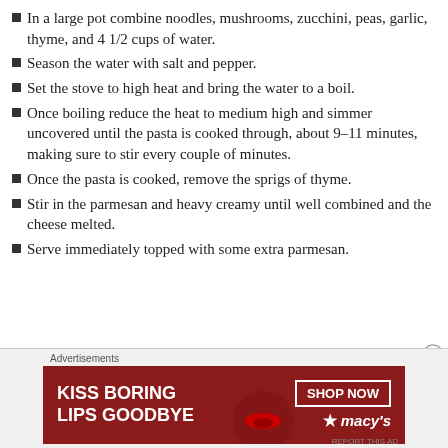In a large pot combine noodles, mushrooms, zucchini, peas, garlic, thyme, and 4 1/2 cups of water.
Season the water with salt and pepper.
Set the stove to high heat and bring the water to a boil.
Once boiling reduce the heat to medium high and simmer uncovered until the pasta is cooked through, about 9–11 minutes, making sure to stir every couple of minutes.
Once the pasta is cooked, remove the sprigs of thyme.
Stir in the parmesan and heavy creamy until well combined and the cheese melted.
Serve immediately topped with some extra parmesan.
[Figure (infographic): Advertisement banner for Macy's lipstick with text 'KISS BORING LIPS GOODBYE', 'SHOP NOW', and Macy's logo with star.]